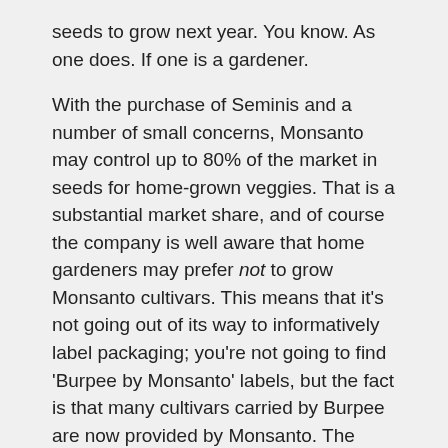seeds to grow next year. You know. As one does. If one is a gardener.
With the purchase of Seminis and a number of small concerns, Monsanto may control up to 80% of the market in seeds for home-grown veggies. That is a substantial market share, and of course the company is well aware that home gardeners may prefer not to grow Monsanto cultivars. This means that it’s not going out of its way to informatively label packaging; you’re not going to find ‘Burpee by Monsanto’ labels, but the fact is that many cultivars carried by Burpee are now provided by Monsanto. The Seminis catalogue is a good place to start when it comes to finding out whether a cultivar is Monsanto-safe (if it’s in the catalogue, it’s not), and many gardeners are compiling detailed listings to help people find out which plants they can and can’t grow.